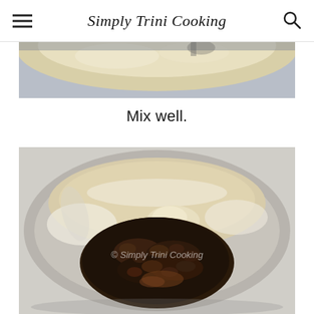Simply Trini Cooking
[Figure (photo): Top portion of a mixing bowl showing pale batter/dough being mixed, partially cropped]
Mix well.
[Figure (photo): A mixing bowl viewed from above containing a mixture of pale cream batter and dark fruit/raisin mixture, with flour dusted around the edges. Watermark reads '© Simply Trini Cooking']